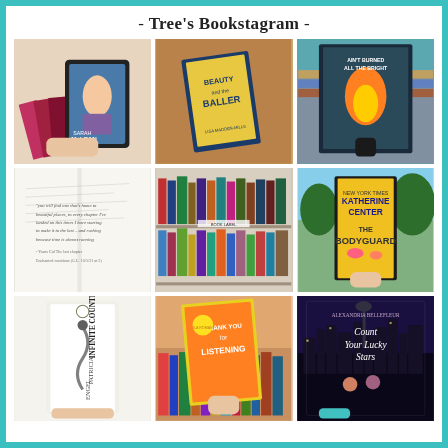- Tree's Bookstagram -
[Figure (photo): Hand holding a tablet e-reader showing a book cover alongside several physical book spines, Sarah MacLean title visible]
[Figure (photo): Book cover 'Beauty and the Baller' by Lisa Madden-Mills on a wooden table]
[Figure (photo): Hand holding a teal/dark book cover in front of a stack of books, Ain't Burned All The Bright]
[Figure (photo): Open book page with handwritten-style quote text, close-up]
[Figure (photo): Colorful bookshelf with many books arranged on two shelves in a bookstore]
[Figure (photo): Hand holding yellow book 'The Bodyguard' by Katherine Center against outdoor background]
[Figure (photo): Book spine visible: 'Infinite Country' by Patricia Engel, held upright]
[Figure (photo): Hand holding 'Thank You for Listening' book in front of colorful bookshelf]
[Figure (photo): Book cover 'Count Your Lucky Stars' by Alexandria Bellefleur, night city skyline background]